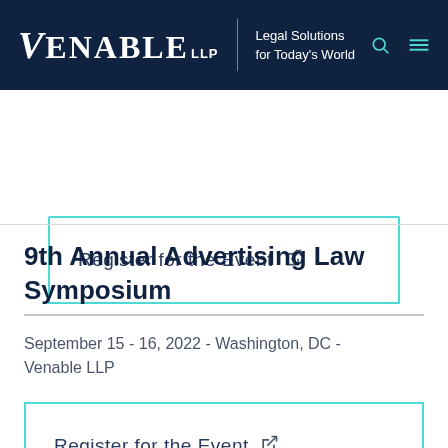Venable LLP | Legal Solutions for Today's World
Register for the Event
9th Annual Advertising Law Symposium
September 15 - 16, 2022 - Washington, DC - Venable LLP
Register for the Event